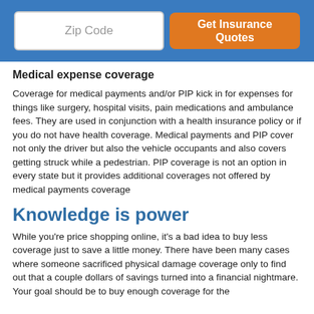[Figure (other): Header bar with a Zip Code input field and an orange 'Get Insurance Quotes' button on a blue background]
Medical expense coverage
Coverage for medical payments and/or PIP kick in for expenses for things like surgery, hospital visits, pain medications and ambulance fees. They are used in conjunction with a health insurance policy or if you do not have health coverage. Medical payments and PIP cover not only the driver but also the vehicle occupants and also covers getting struck while a pedestrian. PIP coverage is not an option in every state but it provides additional coverages not offered by medical payments coverage
Knowledge is power
While you're price shopping online, it's a bad idea to buy less coverage just to save a little money. There have been many cases where someone sacrificed physical damage coverage only to find out that a couple dollars of savings turned into a financial nightmare. Your goal should be to buy enough coverage for the